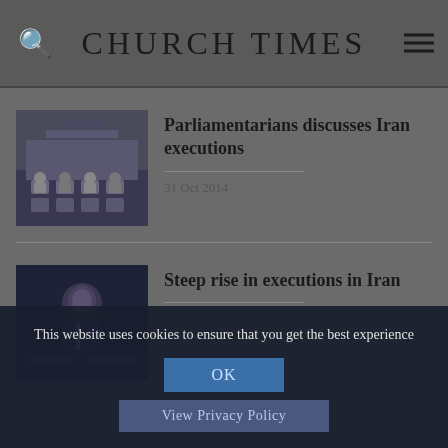CHURCH TIMES
Parliamentarians discusses Iran executions
31 Oct 2014
Steep rise in executions in Iran
21 Mar 2014
This website uses cookies to ensure that you get the best experience
OK
View Privacy Policy